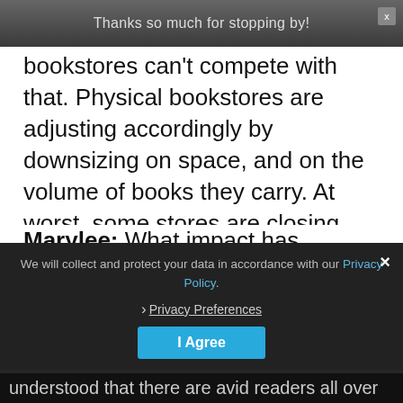Thanks so much for stopping by!
bookstores can't compete with that. Physical bookstores are adjusting accordingly by downsizing on space, and on the volume of books they carry. At worst, some stores are closing doors.
Marylee: What impact has Amazon had on the book-buying market?
We will collect and protect your data in accordance with our Privacy Policy.
Privacy Preferences
I Agree
understood that there are avid readers all over